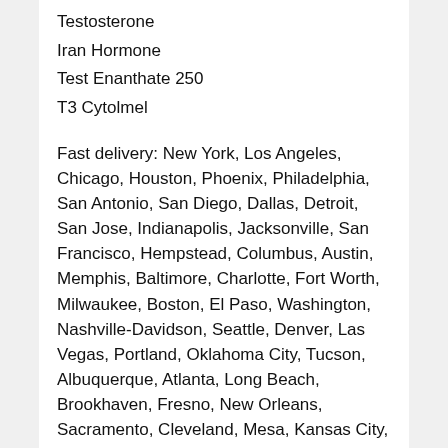Testosterone
Iran Hormone
Test Enanthate 250
T3 Cytolmel
Fast delivery: New York, Los Angeles, Chicago, Houston, Phoenix, Philadelphia, San Antonio, San Diego, Dallas, Detroit, San Jose, Indianapolis, Jacksonville, San Francisco, Hempstead, Columbus, Austin, Memphis, Baltimore, Charlotte, Fort Worth, Milwaukee, Boston, El Paso, Washington, Nashville-Davidson, Seattle, Denver, Las Vegas, Portland, Oklahoma City, Tucson, Albuquerque, Atlanta, Long Beach, Brookhaven, Fresno, New Orleans, Sacramento, Cleveland, Mesa, Kansas City, Virginia Beach, Omaha, Oakland, Miami, Tulsa, Honolulu, Minneapolis, Colorado Springs, Arizona, California, Colorado, District of